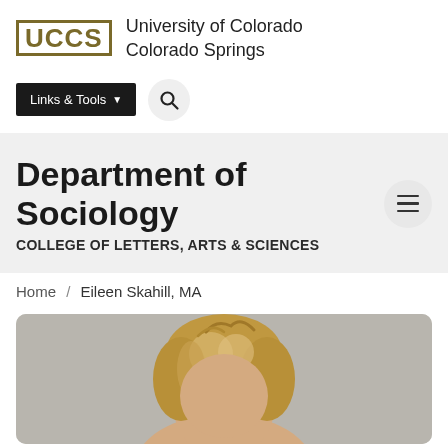[Figure (logo): UCCS logo with block letters and university name]
University of Colorado Colorado Springs
[Figure (screenshot): Links & Tools button with dropdown arrow and search icon circle]
Department of Sociology
COLLEGE OF LETTERS, ARTS & SCIENCES
Home / Eileen Skahill, MA
[Figure (photo): Head and shoulders photo of Eileen Skahill with blond-brown hair against gray background]